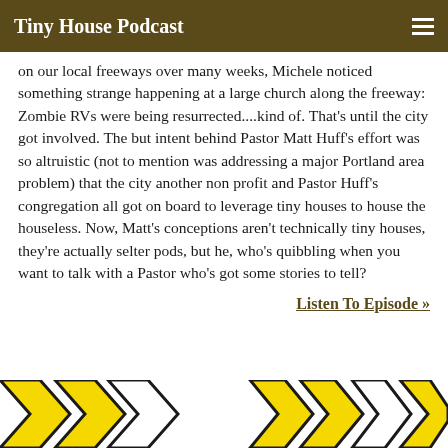Tiny House Podcast
on our local freeways over many weeks, Michele noticed something strange happening at a large church along the freeway: Zombie RVs were being resurrected....kind of. That's until the city got involved. The but intent behind Pastor Matt Huff's effort was so altruistic (not to mention was addressing a major Portland area problem) that the city another non profit and Pastor Huff's congregation all got on board to leverage tiny houses to house the houseless. Now, Matt's conceptions aren't technically tiny houses, they're actually selter pods, but he, who's quibbling when you want to talk with a Pastor who's got some stories to tell?
Listen To Episode »
[Figure (illustration): Partial view of yellow and black arrow/chevron shaped graphic elements at the bottom of the page]